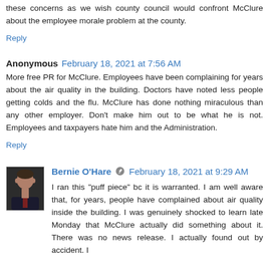these concerns as we wish county council would confront McClure about the employee morale problem at the county.
Reply
Anonymous  February 18, 2021 at 7:56 AM
More free PR for McClure. Employees have been complaining for years about the air quality in the building. Doctors have noted less people getting colds and the flu. McClure has done nothing miraculous than any other employer. Don't make him out to be what he is not. Employees and taxpayers hate him and the Administration.
Reply
Bernie O'Hare  February 18, 2021 at 9:29 AM
I ran this "puff piece" bc it is warranted. I am well aware that, for years, people have complained about air quality inside the building. I was genuinely shocked to learn late Monday that McClure actually did something about it. There was no news release. I actually found out by accident. I